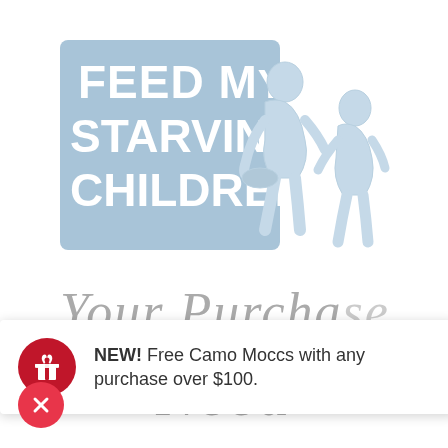[Figure (logo): Feed My Starving Children logo: light blue square with white hand-written text 'FEED MY STARVING CHILDREN' and silhouette illustration of an adult giving food to a child]
Your Purchase
[Figure (infographic): Notification banner with red circle gift icon and text: NEW! Free Camo Moccs with any purchase over $100.]
NEW! Free Camo Moccs with any purchase over $100.
Need